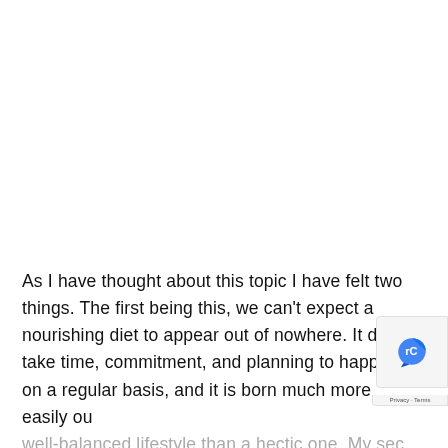As I have thought about this topic I have felt two things. The first being this, we can't expect a nourishing diet to appear out of nowhere. It does take time, commitment, and planning to happen on a regular basis, and it is born much more easily out of a well-balanced lifestyle than a hectic one. My second thought is this, if we only expect to be able to eat